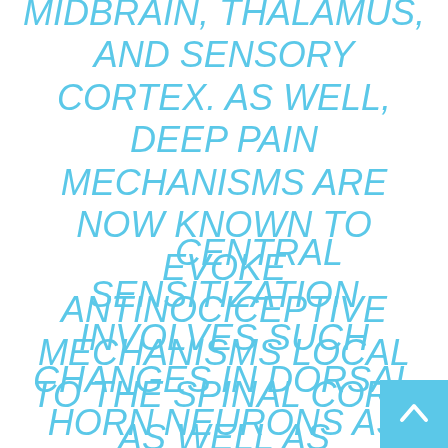MIDBRAIN, THALAMUS, AND SENSORY CORTEX. AS WELL, DEEP PAIN MECHANISMS ARE NOW KNOWN TO EVOKE ANTINOCICEPTIVE MECHANISMS LOCAL TO THE SPINAL CORD AS WELL AS DESCENDING TO THE CORD FROM MIDBRAIN NUCLEI.
2. CENTRAL SENSITIZATION INVOLVES SUCH CHANGES IN DORSAL HORN NEURONS AS LOWERED THRESHOLDS OF EXCITATION, PROLONGED AFTER-DISCHARGES, SPREAD OF REACTIVITY OF DORSAL HORN